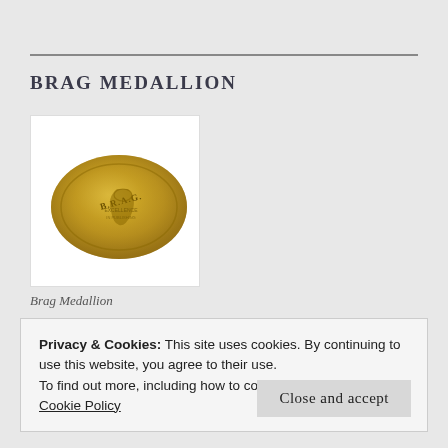BRAG MEDALLION
[Figure (photo): Gold oval BRAG Medallion with embossed design and text]
Brag Medallion
Privacy & Cookies: This site uses cookies. By continuing to use this website, you agree to their use.
To find out more, including how to control cookies, see here:
Cookie Policy
Close and accept